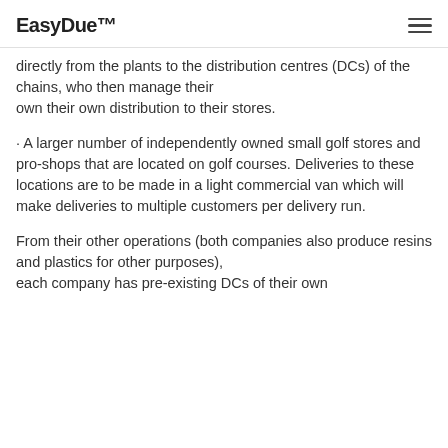EasyDue™
directly from the plants to the distribution centres (DCs) of the chains, who then manage their own their own distribution to their stores.
· A larger number of independently owned small golf stores and pro-shops that are located on golf courses. Deliveries to these locations are to be made in a light commercial van which will make deliveries to multiple customers per delivery run.
From their other operations (both companies also produce resins and plastics for other purposes), each company has pre-existing DCs of their own